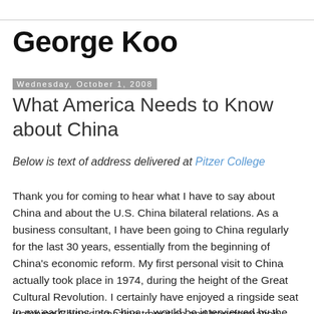George Koo
Wednesday, October 1, 2008
What America Needs to Know about China
Below is text of address delivered at Pitzer College
Thank you for coming to hear what I have to say about China and about the U.S. China bilateral relations. As a business consultant, I have been going to China regularly for the last 30 years, essentially from the beginning of China’s economic reform. My first personal visit to China actually took place in 1974, during the height of the Great Cultural Revolution. I certainly have enjoyed a ringside seat watching China’s amazing transition and transformation during this period.
In my early trips into China, I would be interviewed by the